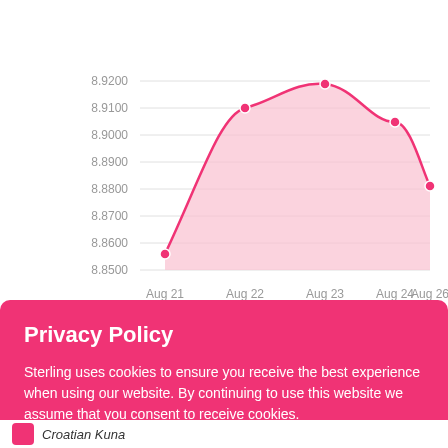[Figure (area-chart): ]
Privacy Policy
Sterling uses cookies to ensure you receive the best experience when using our website. By continuing to use this website we assume that you consent to receive cookies.
Know More   Accept
Croatian Kuna